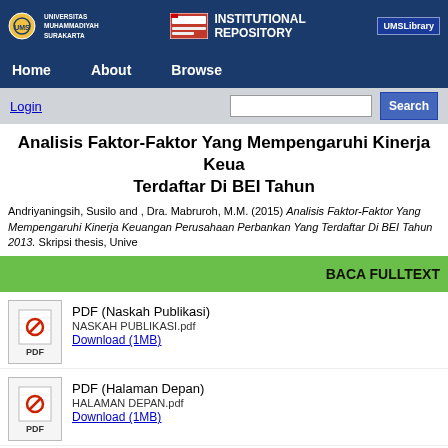UNIVERSITAS MUHAMMADIYAH SURAKARTA | INSTITUTIONAL REPOSITORY | UMSLibrary
Home | About | Browse
Login | Search
Analisis Faktor-Faktor Yang Mempengaruhi Kinerja Keuangan Perusahaan Perbankan Yang Terdaftar Di BEI Tahun
Andriyaningsih, Susilo and , Dra. Mabruroh, M.M. (2015) Analisis Faktor-Faktor Yang Mempengaruhi Kinerja Keuangan Perusahaan Perbankan Yang Terdaftar Di BEI Tahun 2013. Skripsi thesis, Unive
BACA FULLTEXT
PDF (Naskah Publikasi)
NASKAH PUBLIKASI.pdf
Download (1MB)
PDF (Halaman Depan)
HALAMAN DEPAN.pdf
Download (1MB)
PDF (BAB I)
BAB I.pdf
Download (729kB)